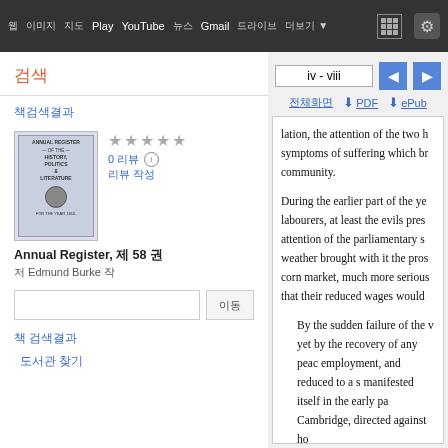웹 이미지 지도 Play YouTube 뉴스 Gmail 드라이브 더보기
검색
책검색결과
[Figure (illustration): Book cover thumbnail for Annual Register]
Annual Register, 제 58 권
저 Edmund Burke 작
0 리뷰 리뷰 작성
책 검색결과
도서관 찾기
iv - viii
lation, the attention of the two h symptoms of suffering which br community.

During the earlier part of the ye labourers, at least the evils pres attention of the parliamentary s weather brought with it the pros corn market, much more serious that their reduced wages would

By the sudden failure of the v yet by the recovery of any peac employment, and reduced to a s manifested itself in the early pa Cambridge, directed against ho